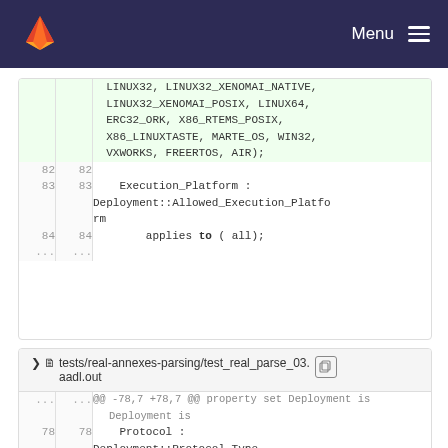Menu
LINUX32, LINUX32_XENOMAI_NATIVE,
LINUX32_XENOMAI_POSIX, LINUX64,
ERC32_ORK, X86_RTEMS_POSIX,
X86_LINUXTASTE, MARTE_OS, WIN32,
VXWORKS, FREERTOS, AIR);
82  82
83  83  Execution_Platform : Deployment::Allowed_Execution_Platform
84  84      applies to ( all);
...  ...
tests/real-annexes-parsing/test_real_parse_03.aadl.out
@@ -78,7 +78,7 @@ property set Deployment is
78  78    Protocol : Deployment::Protocol_Type
79  79      applies to (system);